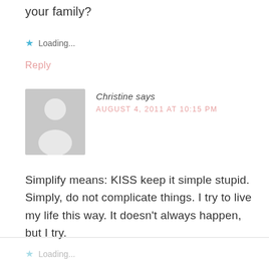your family?
★ Loading...
Reply
[Figure (illustration): Default grey avatar placeholder showing a silhouette of a person]
Christine says
AUGUST 4, 2011 AT 10:15 PM
Simplify means: KISS keep it simple stupid. Simply, do not complicate things. I try to live my life this way. It doesn't always happen, but I try.
★ Loading...